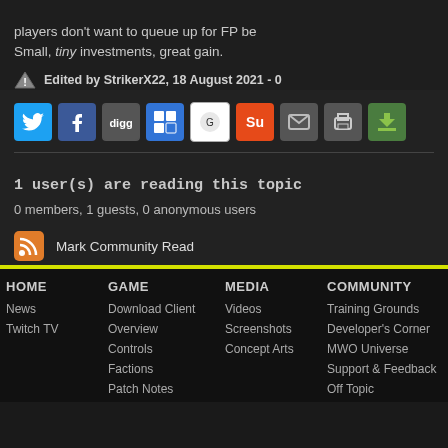players don't want to queue up for FP be... Small, tiny investments, great gain.
Edited by StrikerX22, 18 August 2021 - 0
[Figure (infographic): Row of social sharing icons: Twitter, Facebook, Digg, Delicious, Google Reader, StumbleUpon, Email, Print, Download]
1 user(s) are reading this topic
0 members, 1 guests, 0 anonymous users
[Figure (infographic): RSS icon with Mark Community Read link]
Mark Community Read
HOME
GAME
MEDIA
COMMUNITY
SUPPR
News
Download Client
Videos
Training Grounds
Billin
Twitch TV
Overview
Screenshots
Developer's Corner
Acco
Controls
Concept Arts
MWO Universe
Techn
Factions
Support & Feedback
Game
Patch Notes
Off Topic
Coro